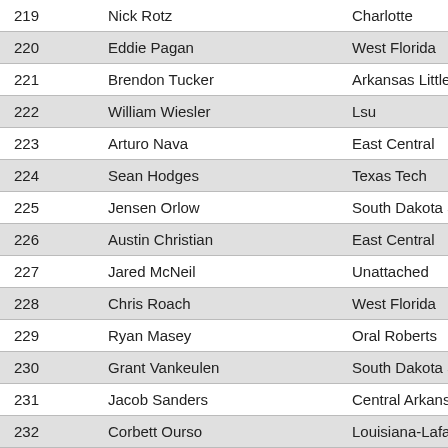| # | Name | School |
| --- | --- | --- |
| 219 | Nick Rotz | Charlotte |
| 220 | Eddie Pagan | West Florida |
| 221 | Brendon Tucker | Arkansas Little Rock |
| 222 | William Wiesler | Lsu |
| 223 | Arturo Nava | East Central |
| 224 | Sean Hodges | Texas Tech |
| 225 | Jensen Orlow | South Dakota State |
| 226 | Austin Christian | East Central |
| 227 | Jared McNeil | Unattached |
| 228 | Chris Roach | West Florida |
| 229 | Ryan Masey | Oral Roberts |
| 230 | Grant Vankeulen | South Dakota State |
| 231 | Jacob Sanders | Central Arkansas |
| 232 | Corbett Ourso | Louisiana-Lafayette |
| 233 | Sam Hippely | West Florida |
| 234 | A.J. Cunningham | West Florida |